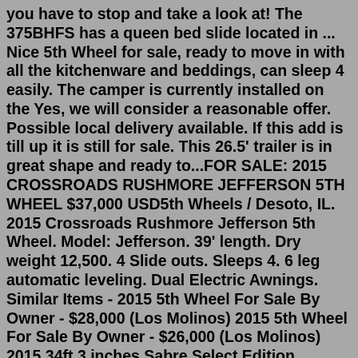you have to stop and take a look at! The 375BHFS has a queen bed slide located in ... Nice 5th Wheel for sale, ready to move in with all the kitchenware and beddings, can sleep 4 easily. The camper is currently installed on the Yes, we will consider a reasonable offer. Possible local delivery available. If this add is till up it is still for sale. This 26.5' trailer is in great shape and ready to...FOR SALE: 2015 CROSSROADS RUSHMORE JEFFERSON 5TH WHEEL $37,000 USD5th Wheels / Desoto, IL. 2015 Crossroads Rushmore Jefferson 5th Wheel. Model: Jefferson. 39' length. Dry weight 12,500. 4 Slide outs. Sleeps 4. 6 leg automatic leveling. Dual Electric Awnings. Similar Items - 2015 5th Wheel For Sale By Owner - $28,000 (Los Molinos) 2015 5th Wheel For Sale By Owner - $26,000 (Los Molinos) 2015 34ft 3 inches Sabre Select Edition 312RKDS, one owner, I have pink slip.New awning installed, new seals and wheels packed 9/20/21 by camper corral. 4 New tires purchased 9/15/20, spare tire never used. FOR SALE: 2015 CROSSROADS RUSHMORE JEFFERSON